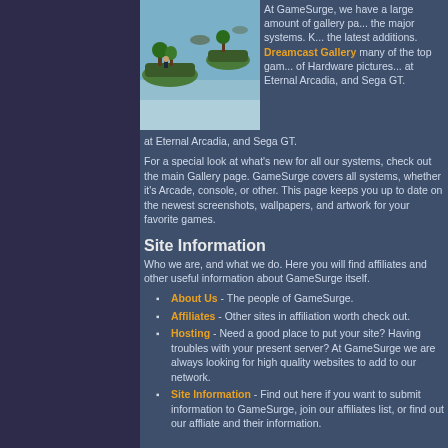[Figure (photo): Screenshot of a video game showing floating islands with a character in a fantasy landscape]
At GameSurge, we have a large amount of gallery pages covering all the major systems. Keep your eye on the latest additions. Our Dreamcast Gallery has many of the top games' galleries, as well as a section of Hardware pictures. We also have a look at Eternal Arcadia, and Sega GT.
For a special look at what's new for all our systems, check out the main Gallery page. GameSurge covers all systems, whether it's Arcade, console, or other. This page keeps you up to date on the newest screenshots, wallpapers, and artwork for your favorite games.
Site Information
Who we are, and what we do. Here you will find affiliates and other useful information about GameSurge itself.
About Us - The people of GameSurge.
Affiliates - Other sites in affiliation with us, worth check out.
Hosting - Need a good place to put your site? Having troubles with your present server? At GameSurge we are always looking for high quality websites to add to our network.
Site Information - Find out here if you want to submit information to GameSurge, join our affiliates list, or find out our affliate and their information.